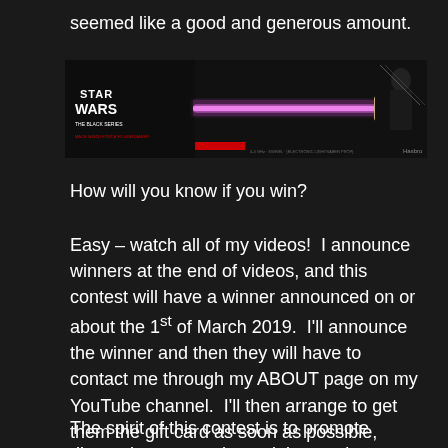seemed like a good and generous amount.
[Figure (photo): Star Wars The Black Series lightsaber product box showing a pink/purple lightsaber blade extending across the length of the box, with a Jedi figure in the background on the right side. White and red Star Wars branding on the left.]
How will you know if you win?
Easy – watch all of my videos!  I announce winners at the end of videos, and this contest will have a winner announced on or about the 1st of March 2019.  I'll announce the winner and then they will have to contact me through my ABOUT page on my YouTube channel.  I'll then arrange to get them the gift card as soon as possible, usually within 48 hours of contacting me.
The spirit of this contest is to promote discussion on my channel, interaction among Star Wars and Gaming fans,